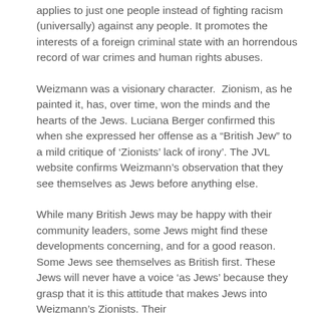applies to just one people instead of fighting racism (universally) against any people. It promotes the interests of a foreign criminal state with an horrendous record of war crimes and human rights abuses.
Weizmann was a visionary character.  Zionism, as he painted it, has, over time, won the minds and the hearts of the Jews. Luciana Berger confirmed this when she expressed her offense as a “British Jew” to a mild critique of ‘Zionists’ lack of irony’. The JVL website confirms Weizmann’s observation that they see themselves as Jews before anything else.
While many British Jews may be happy with their community leaders, some Jews might find these developments concerning, and for a good reason. Some Jews see themselves as British first. These Jews will never have a voice ‘as Jews’ because they grasp that it is this attitude that makes Jews into Weizmann’s Zionists. Their